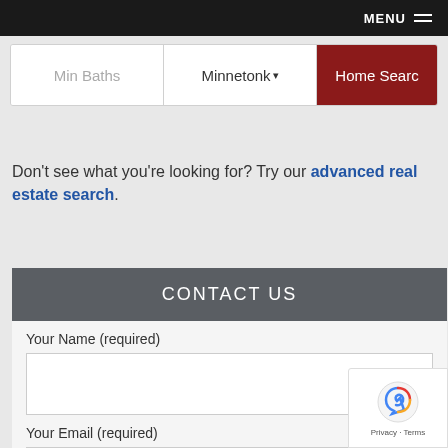MENU
[Figure (screenshot): Search bar with Min Baths input, Minnetonka dropdown, and Home Search button]
Don't see what you're looking for? Try our advanced real estate search.
CONTACT US
Your Name (required)
Your Email (required)